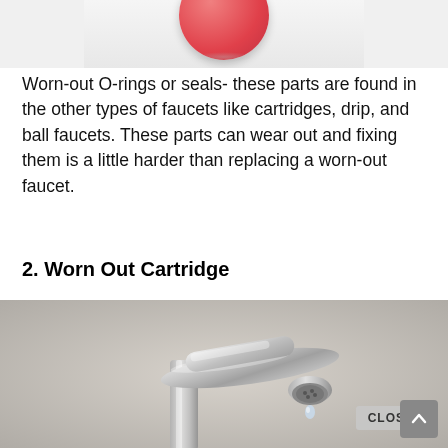[Figure (photo): Partial view of a pink/red spherical object (ball or rubber stopper) at the top of the page with a slight reflection below it, cropped image.]
Worn-out O-rings or seals- these parts are found in the other types of faucets like cartridges, drip, and ball faucets. These parts can wear out and fixing them is a little harder than replacing a worn-out faucet.
2. Worn Out Cartridge
[Figure (photo): Close-up photograph of a chrome/silver dripping faucet against a light gray/beige background, with a water drop falling from the spout. A 'CLOSE' button overlay appears in the lower right area of the image, and a scroll-to-top arrow button is visible at the bottom right corner.]